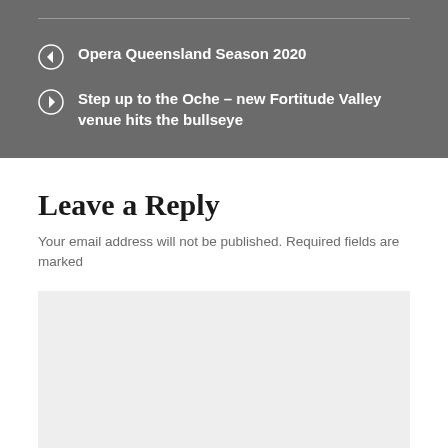Opera Queensland Season 2020
Step up to the Oche – new Fortitude Valley venue hits the bullseye
Leave a Reply
Your email address will not be published. Required fields are marked